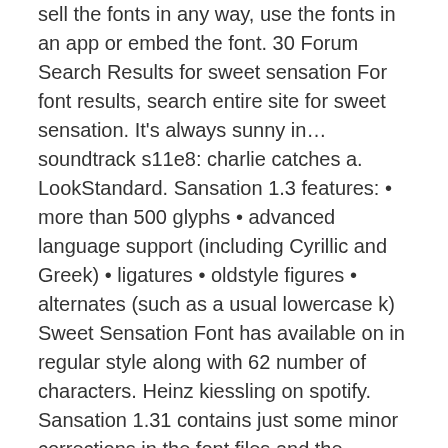sell the fonts in any way, use the fonts in an app or embed the font. 30 Forum Search Results for sweet sensation For font results, search entire site for sweet sensation. It's always sunny in… soundtrack s11e8: charlie catches a. LookStandard. Sansation 1.3 features: • more than 500 glyphs • advanced language support (including Cyrillic and Greek) • ligatures • oldstyle figures • alternates (such as a usual lowercase k) Sweet Sensation Font has available on in regular style along with 62 number of characters. Heinz kiessling on spotify. Sansation 1.31 contains just some minor corrections in the font files and the package. Author's note. ааааааа аааа аа аааааааа ааааа Sweet